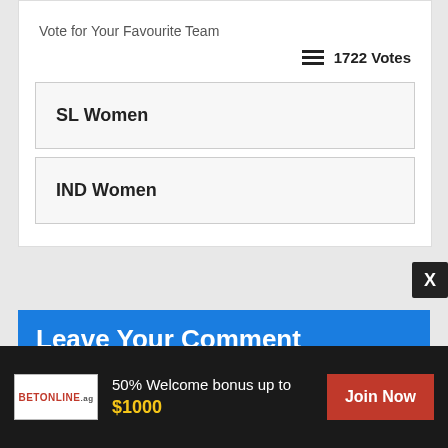Vote for Your Favourite Team
1722 Votes
SL Women
IND Women
Leave Your Comment
We do our best to give you most accurate & useful match predictions and would love to hear from you. Let us know if we need to improve. Share your own
[Figure (infographic): BetOnline.ag advertisement banner with 50% Welcome bonus up to $1000 and Join Now button]
50% Welcome bonus up to $1000
Join Now